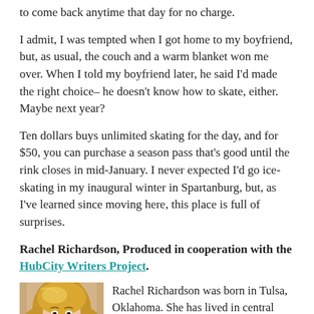to come back anytime that day for no charge.
I admit, I was tempted when I got home to my boyfriend, but, as usual, the couch and a warm blanket won me over. When I told my boyfriend later, he said I'd made the right choice– he doesn't know how to skate, either. Maybe next year?
Ten dollars buys unlimited skating for the day, and for $50, you can purchase a season pass that's good until the rink closes in mid-January. I never expected I'd go ice-skating in my inaugural winter in Spartanburg, but, as I've learned since moving here, this place is full of surprises.
Rachel Richardson, Produced in cooperation with the HubCity Writers Project.
[Figure (photo): Headshot photo of Rachel Richardson, a woman with blonde hair, smiling]
Rachel Richardson was born in Tulsa, Oklahoma. She has lived in central New York, coastal Carolina, and Austria but currently calls Spartanburg home. She is...